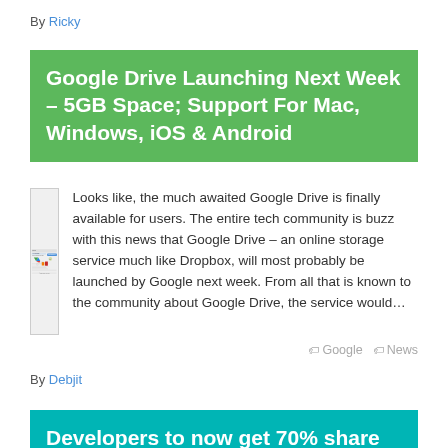By Ricky
Google Drive Launching Next Week – 5GB Space; Support For Mac, Windows, iOS & Android
[Figure (screenshot): Screenshot of Google Drive for Windows download page with Google Drive logo and mobile device images]
Looks like, the much awaited Google Drive is finally available for users. The entire tech community is buzz with this news that Google Drive – an online storage service much like Dropbox, will most probably be launched by Google next week. From all that is known to the community about Google Drive, the service would…
Google  News
By Debjit
Developers to now get 70% share of iAd